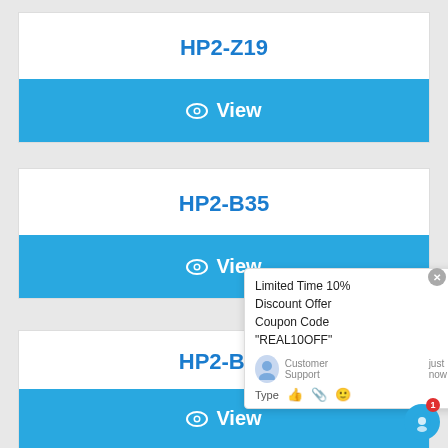HP2-Z19
View
HP2-B35
View
HP2-B65
View
Limited Time 10% Discount Offer Coupon Code "REAL10OFF"
Customer Support   just now
Type